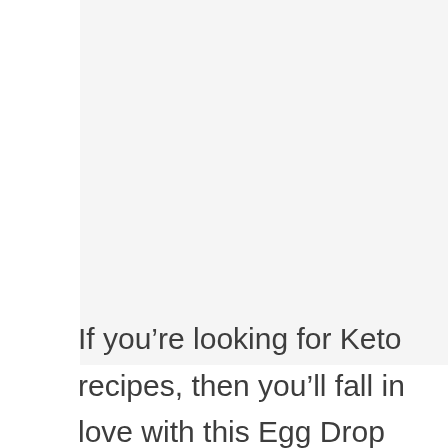[Figure (other): Image placeholder with three gray dots indicating a loading or placeholder state against a light gray background]
If you’re looking for Keto recipes, then you’ll fall in love with this Egg Drop soup!
It’s a totally delicious and satisfying